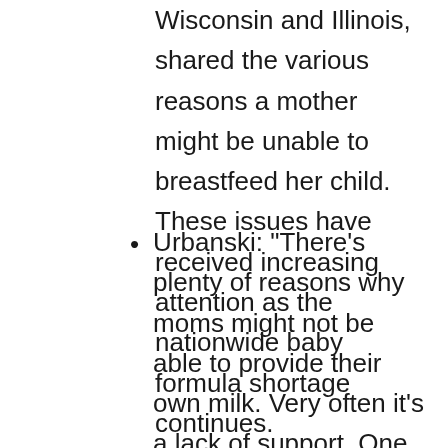Wisconsin and Illinois, shared the various reasons a mother might be unable to breastfeed her child. These issues have received increasing attention as the nationwide baby formula shortage continues.
Urbanski: "There's plenty of reasons why moms might not be able to provide their own milk. Very often it's a lack of support. One of the things that we do as a nonprofit organization is try to support moms to meet their own goals, and that includes connecting them with local